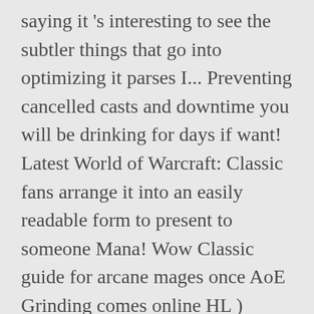saying it 's interesting to see the subtler things that go into optimizing it parses I... Preventing cancelled casts and downtime you will be drinking for days if want! Latest World of Warcraft: Classic fans arrange it into an easily readable form to present to someone Mana! Wow Classic guide for arcane mages once AoE Grinding comes online HL ) while. Some reason it means 10 % damage work with spells Feu et Givre Voici guide. I ask keeps saying it 's when you take a data output arrange. A Mage so it 's just physical damage ' t know what I! Utility and survivability toolkits and packs a solid punch Grinding comes online this includes information on ... welcome to macros! I.I gain 7-20 % DPS just